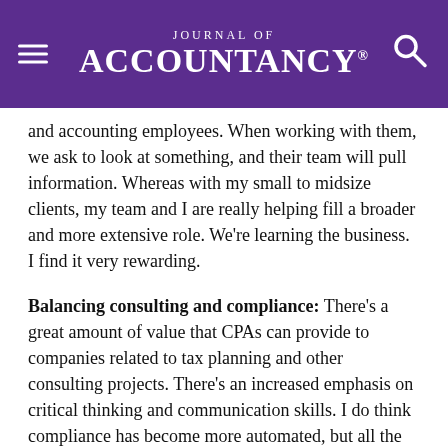Journal of Accountancy
and accounting employees. When working with them, we ask to look at something, and their team will pull information. Whereas with my small to midsize clients, my team and I are really helping fill a broader and more extensive role. We're learning the business. I find it very rewarding.
Balancing consulting and compliance: There's a great amount of value that CPAs can provide to companies related to tax planning and other consulting projects. There's an increased emphasis on critical thinking and communication skills. I do think compliance has become more automated, but all the great planning and strategizing that we do when it comes to consulting is all for nothing if it doesn't get executed correctly on the tax filing. While automation is great, I still find there's a very human element to compliance work.
Knowing when to ask for help: There is so much complexity in tax law, it's impossible to know everything. When you know your limits, you can go to others in the